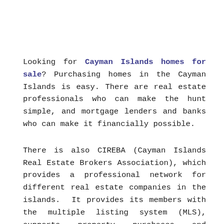Looking for Cayman Islands homes for sale? Purchasing homes in the Cayman Islands is easy. There are real estate professionals who can make the hunt simple, and mortgage lenders and banks who can make it financially possible.
There is also CIREBA (Cayman Islands Real Estate Brokers Association), which provides a professional network for different real estate companies in the islands.  It provides its members with the multiple listing system (MLS), supports property purchases and maintains real estate listings, upholds standards in real estate practices, and promotes a better buying experience.